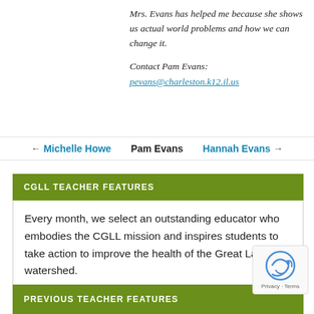Mrs. Evans has helped me because she shows us actual world problems and how we can change it.
Contact Pam Evans: pevans@charleston.k12.il.us
← Michelle Howe   Pam Evans   Hannah Evans →
CGLL TEACHER FEATURES
Every month, we select an outstanding educator who embodies the CGLL mission and inspires students to take action to improve the health of the Great Lakes watershed.
PREVIOUS TEACHER FEATURES